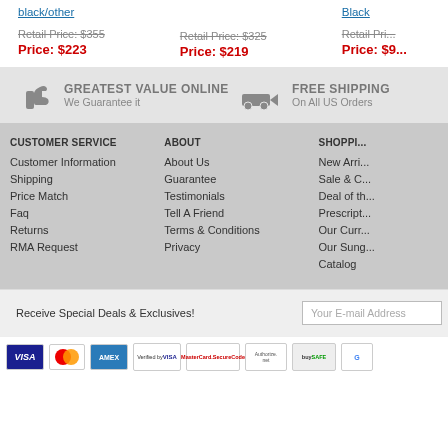black/other
Black
Retail Price: $355
Price: $223
Retail Price: $325
Price: $219
Retail Pri...
Price: $9...
GREATEST VALUE ONLINE
We Guarantee it
FREE SHIPPING
On All US Orders
CUSTOMER SERVICE
Customer Information
Shipping
Price Match
Faq
Returns
RMA Request
ABOUT
About Us
Guarantee
Testimonials
Tell A Friend
Terms & Conditions
Privacy
SHOPPING
New Arrivals
Sale & Clearance
Deal of the...
Prescription
Our Curr...
Our Sung...
Catalog
Receive Special Deals & Exclusives!
Your E-mail Address